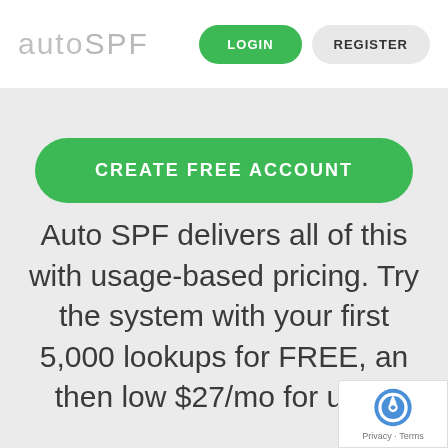autoSPF — LOGIN | REGISTER
[Figure (screenshot): Green CREATE FREE ACCOUNT button with rounded corners on light gray background]
Auto SPF delivers all of this with usage-based pricing. Try the system with your first 5,000 lookups for FREE, and then low $27/mo for up to